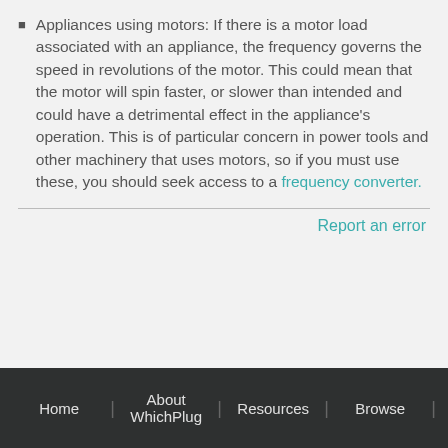Appliances using motors: If there is a motor load associated with an appliance, the frequency governs the speed in revolutions of the motor. This could mean that the motor will spin faster, or slower than intended and could have a detrimental effect in the appliance's operation. This is of particular concern in power tools and other machinery that uses motors, so if you must use these, you should seek access to a frequency converter.
Report an error
Home | About WhichPlug | Resources | Browse